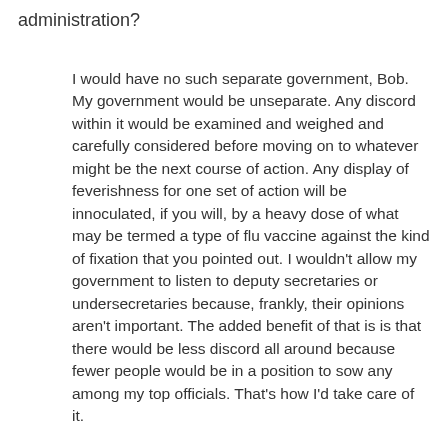administration?
I would have no such separate government, Bob. My government would be unseparate. Any discord within it would be examined and weighed and carefully considered before moving on to whatever might be the next course of action. Any display of feverishness for one set of action will be innoculated, if you will, by a heavy dose of what may be termed a type of flu vaccine against the kind of fixation that you pointed out. I wouldn't allow my government to listen to deputy secretaries or undersecretaries because, frankly, their opinions aren't important. The added benefit of that is is that there would be less discord all around because fewer people would be in a position to sow any among my top officials. That's how I'd take care of it.